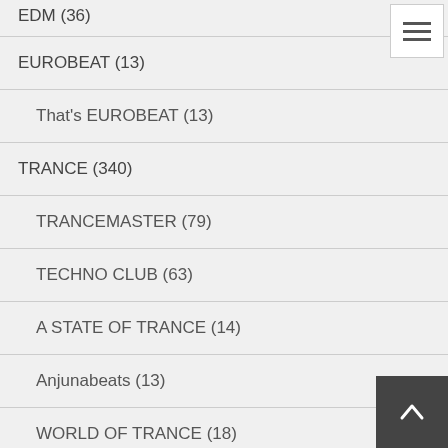EDM (36)
EUROBEAT (13)
That's EUROBEAT (13)
TRANCE (340)
TRANCEMASTER (79)
TECHNO CLUB (63)
A STATE OF TRANCE (14)
Anjunabeats (13)
WORLD OF TRANCE (18)
armada trance (9)
D.TRANCE (94)